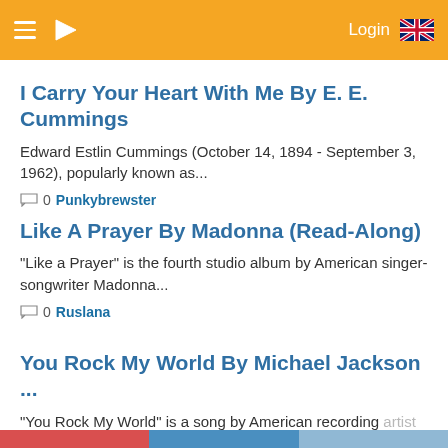Login
I Carry Your Heart With Me By E. E. Cummings
Edward Estlin Cummings (October 14, 1894 - September 3, 1962), popularly known as...
0  Punkybrewster
Like A Prayer By Madonna (Read-Along)
"Like a Prayer" is the fourth studio album by American singer-songwriter Madonna...
0  Ruslana
You Rock My World By Michael Jackson ...
"You Rock My World" is a song by American recording artist Michael Jackson from...
0  Ruslana